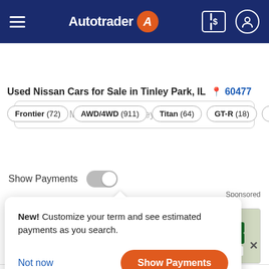Autotrader
Search by Make, Model or Keyword
Used Nissan Cars for Sale in Tinley Park, IL 60477
Frontier (72)
AWD/4WD (911)
Titan (64)
GT-R (18)
Altima (329)
Filter & Sort (2) | Compare | My Wallet
Show Payments
Sponsored
New! Customize your term and see estimated payments as you search.
Not now
Show Payments
(10.26 mi. away)
(708) 568-0452
Get Directions | Confirm Availability
[Figure (screenshot): Kelly Nissan dealer thumbnail image with street sign and dealership logo]